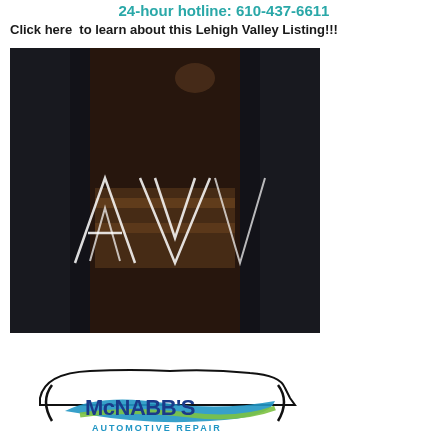24-hour hotline: 610-437-6611
Click here  to learn about this Lehigh Valley Listing!!!
[Figure (photo): Dark artistic photograph of a person wearing leather jacket and jeans, holding keys, with geometric triangular logo overlay showing 'AW' letters in white lines]
[Figure (logo): McNabb's Automotive Repair logo featuring a car silhouette and blue/green swoosh design with company name in blue block letters]